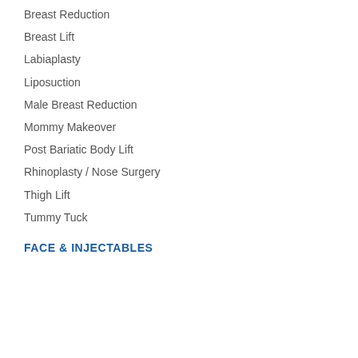Breast Reduction
Breast Lift
Labiaplasty
Liposuction
Male Breast Reduction
Mommy Makeover
Post Bariatic Body Lift
Rhinoplasty / Nose Surgery
Thigh Lift
Tummy Tuck
FACE & INJECTABLES